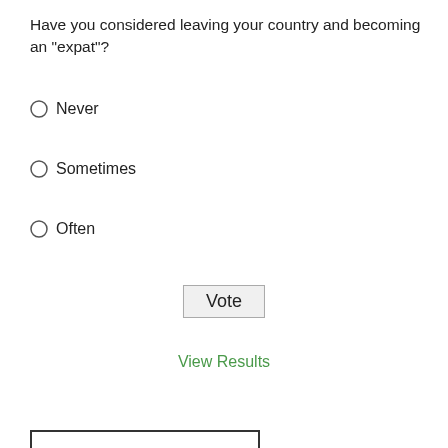Have you considered leaving your country and becoming an "expat"?
Never
Sometimes
Often
Vote
View Results
[Figure (logo): The 3rd Annual Plutus Awards logo with a gold trophy shield bearing the letter P with radiating sun rays]